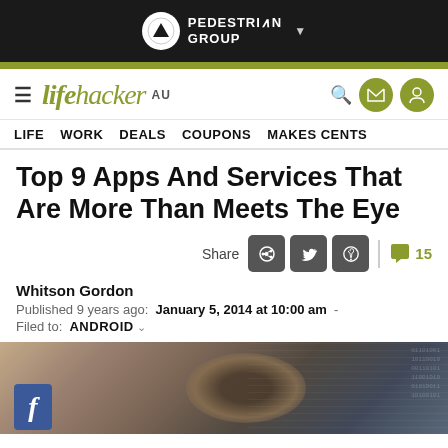PEDESTRIAN GROUP
lifehacker AU — LIFE  WORK  DEALS  COUPONS  MAKES CENTS
Top 9 Apps And Services That Are More Than Meets The Eye
Share  15
Whitson Gordon
Published 9 years ago:  January 5, 2014 at 10:00 am  -  Filed to:  ANDROID
[Figure (photo): Hero image showing a digitally enhanced eye with binary/data overlays and a Facebook icon in the lower left corner]